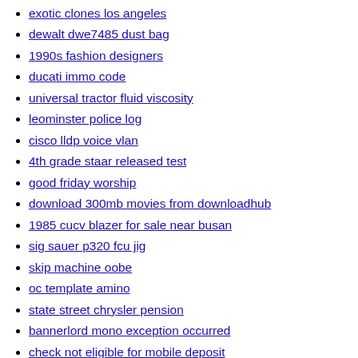exotic clones los angeles
dewalt dwe7485 dust bag
1990s fashion designers
ducati immo code
universal tractor fluid viscosity
leominster police log
cisco lldp voice vlan
4th grade staar released test
good friday worship
download 300mb movies from downloadhub
1985 cucv blazer for sale near busan
sig sauer p320 fcu jig
skip machine oobe
oc template amino
state street chrysler pension
bannerlord mono exception occurred
check not eligible for mobile deposit
pixxi boost
how to turn off spotlight on snapchat
dahua default password vto
betacrypt conax key
sweet cabins reviews
amc activation code not working
toscana air conditioner manual
robobrew brownilla distillation copper reflux still top